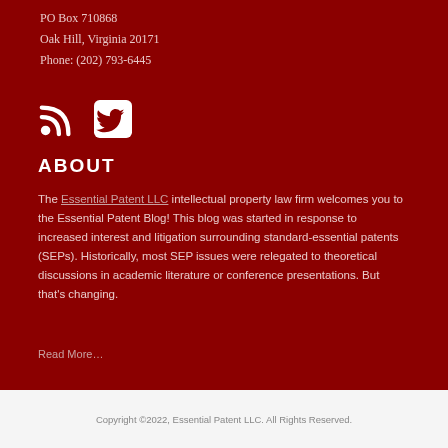PO Box 710868
Oak Hill, Virginia 20171
Phone: (202) 793-6445
[Figure (illustration): RSS feed icon and Twitter bird icon in white on dark red background]
ABOUT
The Essential Patent LLC intellectual property law firm welcomes you to the Essential Patent Blog! This blog was started in response to increased interest and litigation surrounding standard-essential patents (SEPs). Historically, most SEP issues were relegated to theoretical discussions in academic literature or conference presentations. But that's changing.
Read More…
Copyright ©2022, Essential Patent LLC. All Rights Reserved.